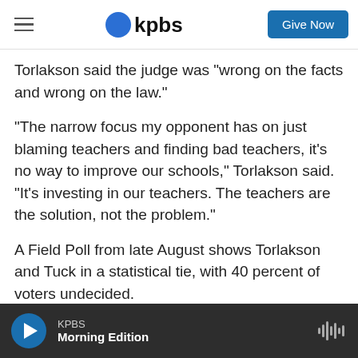KPBS | Give Now
Torlakson said the judge was "wrong on the facts and wrong on the law."
“The narrow focus my opponent has on just blaming teachers and finding bad teachers, it’s no way to improve our schools,” Torlakson said. “It’s investing in our teachers. The teachers are the solution, not the problem.”
A Field Poll from late August shows Torlakson and Tuck in a statistical tie, with 40 percent of voters undecided.
Tags  Education  Voter Hub
KPBS Morning Edition